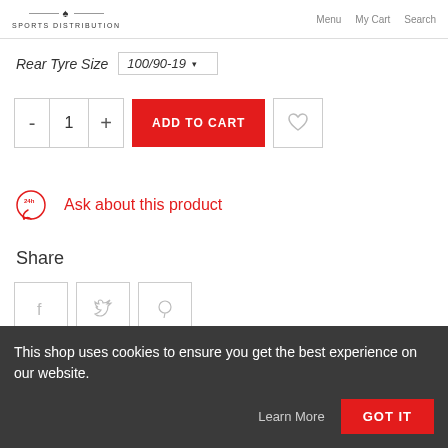SPORTS DISTRIBUTION | Menu | My Cart | Search
Rear Tyre Size  100/90-19
- 1 + ADD TO CART [wishlist]
Ask about this product
Share
[Figure (other): Social share icons: Facebook, Twitter, Pinterest]
DESCRIPTION
This shop uses cookies to ensure you get the best experience on our website.